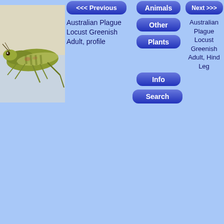[Figure (photo): Australian Plague Locust, greenish adult, profile view against white background]
<< Previous
Australian Plague Locust Greenish Adult, profile
Animals
Other
Plants
Info
Search
Next >>>
Australian Plague Locust Greenish Adult, Hind Leg